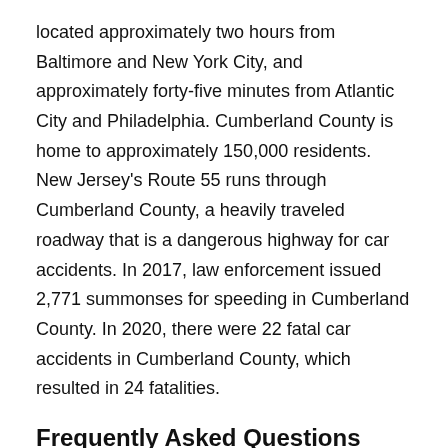located approximately two hours from Baltimore and New York City, and approximately forty-five minutes from Atlantic City and Philadelphia. Cumberland County is home to approximately 150,000 residents. New Jersey's Route 55 runs through Cumberland County, a heavily traveled roadway that is a dangerous highway for car accidents. In 2017, law enforcement issued 2,771 summonses for speeding in Cumberland County. In 2020, there were 22 fatal car accidents in Cumberland County, which resulted in 24 fatalities.
Frequently Asked Questions (FAQs) About Traffic Violations i...